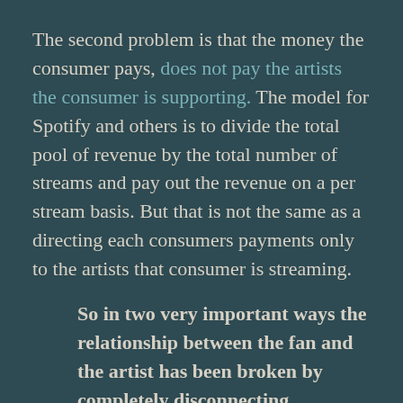The second problem is that the money the consumer pays, does not pay the artists the consumer is supporting. The model for Spotify and others is to divide the total pool of revenue by the total number of streams and pay out the revenue on a per stream basis. But that is not the same as a directing each consumers payments only to the artists that consumer is streaming.
So in two very important ways the relationship between the fan and the artist has been broken by completely disconnecting compensation from consumption.
The...